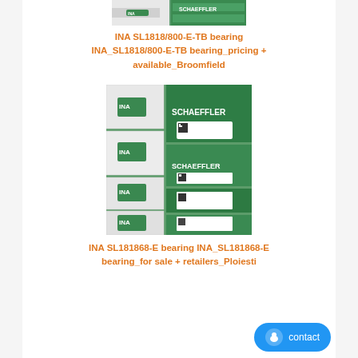[Figure (photo): INA SL1818/800-E-TB bearing boxes with green Schaeffler branding, partial view at top]
INA SL1818/800-E-TB bearing INA_SL1818/800-E-TB bearing_pricing + available_Broomfield
[Figure (photo): Stack of white and green INA Schaeffler bearing product boxes with QR code labels]
INA SL181868-E bearing INA_SL181868-E bearing_for sale + retailers_Ploiesti